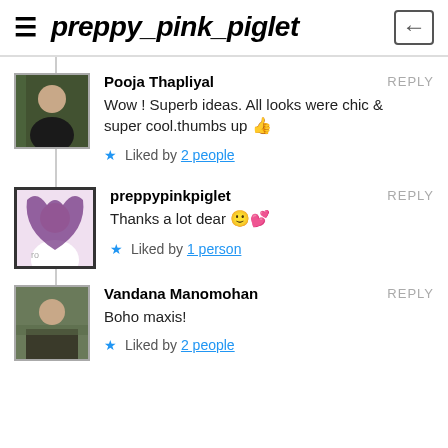preppy_pink_piglet
Pooja Thapliyal REPLY
Wow ! Superb ideas. All looks were chic & super cool.thumbs up 👍
★ Liked by 2 people
preppypinkpiglet REPLY
Thanks a lot dear 🙂💕
★ Liked by 1 person
Vandana Manomohan REPLY
Boho maxis!
★ Liked by 2 people